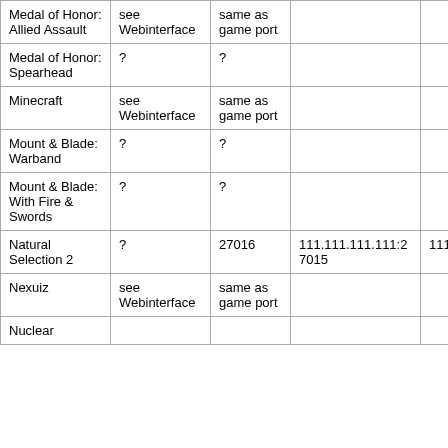| Medal of Honor: Allied Assault | see Webinterface | same as game port |  |  |
| Medal of Honor: Spearhead | ? | ? |  |  |
| Minecraft | see Webinterface | same as game port |  |  |
| Mount & Blade: Warband | ? | ? |  |  |
| Mount & Blade: With Fire & Swords | ? | ? |  |  |
| Natural Selection 2 | ? | 27016 | 111.111.111.111:27015 | 111.11 |
| Nexuiz | see Webinterface | same as game port |  |  |
| Nuclear |  |  |  |  |